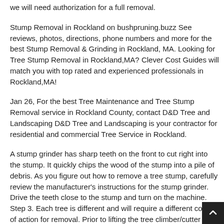we will need authorization for a full removal.
Stump Removal in Rockland on bushpruning.buzz See reviews, photos, directions, phone numbers and more for the best Stump Removal & Grinding in Rockland, MA. Looking for Tree Stump Removal in Rockland,MA? Clever Cost Guides will match you with top rated and experienced professionals in Rockland,MA!
Jan 26, For the best Tree Maintenance and Tree Stump Removal service in Rockland County, contact D&D Tree and Landscaping D&D Tree and Landscaping is your contractor for residential and commercial Tree Service in Rockland.
A stump grinder has sharp teeth on the front to cut right into the stump. It quickly chips the wood of the stump into a pile of debris. As you figure out how to remove a tree stump, carefully review the manufacturer's instructions for the stump grinder. Drive the teeth close to the stump and turn on the machine. Step 3. Each tree is different and will require a different course of action for removal. Prior to lifting the tree climber/cutter into place, the crane operator and tree climber will formulate a strategy for the removal process.